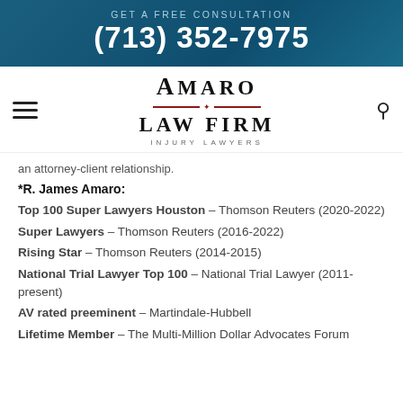GET A FREE CONSULTATION
(713) 352-7975
[Figure (logo): Amaro Law Firm Injury Lawyers logo with red star divider]
an attorney-client relationship.
*R. James Amaro:
Top 100 Super Lawyers Houston – Thomson Reuters (2020-2022)
Super Lawyers – Thomson Reuters (2016-2022)
Rising Star – Thomson Reuters (2014-2015)
National Trial Lawyer Top 100 – National Trial Lawyer (2011-present)
AV rated preeminent – Martindale-Hubbell
Lifetime Member – The Multi-Million Dollar Advocates Forum